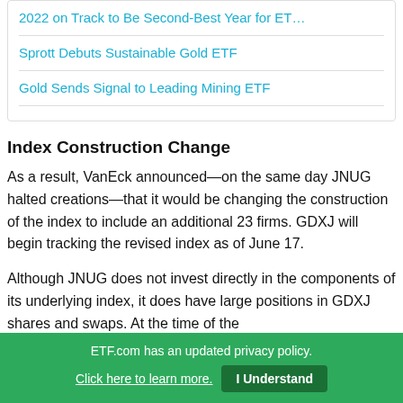2022 on Track to Be Second-Best Year for ET…
Sprott Debuts Sustainable Gold ETF
Gold Sends Signal to Leading Mining ETF
Index Construction Change
As a result, VanEck announced—on the same day JNUG halted creations—that it would be changing the construction of the index to include an additional 23 firms. GDXJ will begin tracking the revised index as of June 17.
Although JNUG does not invest directly in the components of its underlying index, it does have large positions in GDXJ shares and swaps. At the time of the
ETF.com has an updated privacy policy. Click here to learn more. I Understand